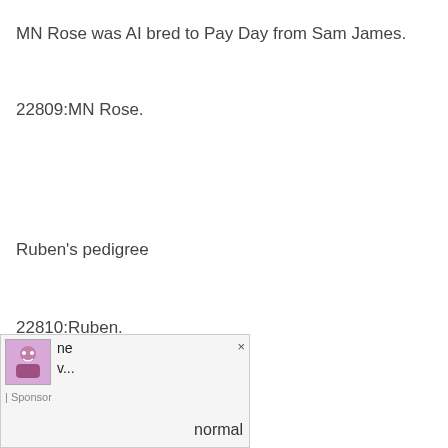MN Rose was AI bred to Pay Day from Sam James.
22809:MN Rose.
Ruben's pedigree
22810:Ruben.
Ruben pic at age 2
[Figure (other): Ad overlay showing a small character image, close button (×), text 'ne v...' with '| Sponsor' label and the word 'normal']